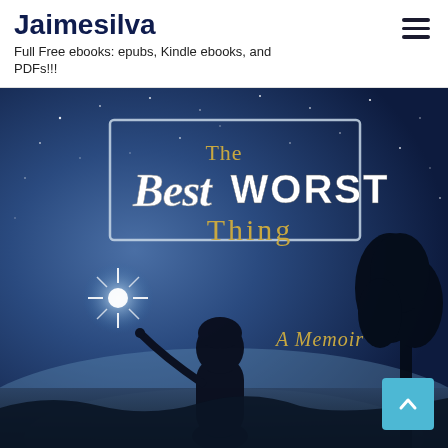Jaimesilva
Full Free ebooks: epubs, Kindle ebooks, and PDFs!!!
[Figure (photo): Book cover of 'The Best Worst Thing: A Memoir' showing a night sky with stars, a silhouette of a woman pointing at a bright star, and a tree silhouette on the right. The title text is styled with 'The' in gold, 'Best' in cursive white, 'Worst' in bold white serif, and 'Thing' in gold serif, inside a silver/white rectangular border. 'A Memoir' appears in gold italic text.]